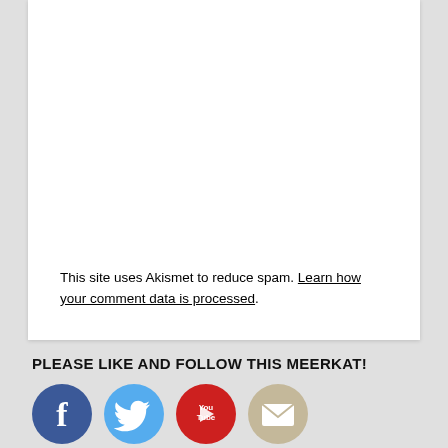This site uses Akismet to reduce spam. Learn how your comment data is processed.
PLEASE LIKE AND FOLLOW THIS MEERKAT!
[Figure (illustration): Four social media icons: Facebook (blue circle with f logo), Twitter (light blue circle with bird logo), YouTube (red circle with play button and 'You Tube' text), Email/envelope (tan/beige circle with envelope icon)]